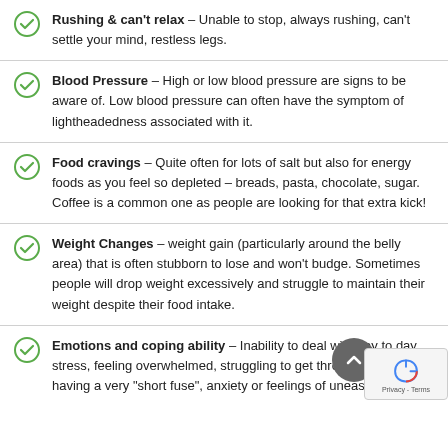Rushing & can't relax – Unable to stop, always rushing, can't settle your mind, restless legs.
Blood Pressure – High or low blood pressure are signs to be aware of. Low blood pressure can often have the symptom of lightheadedness associated with it.
Food cravings – Quite often for lots of salt but also for energy foods as you feel so depleted – breads, pasta, chocolate, sugar. Coffee is a common one as people are looking for that extra kick!
Weight Changes – weight gain (particularly around the belly area) that is often stubborn to lose and won't budge. Sometimes people will drop weight excessively and struggle to maintain their weight despite their food intake.
Emotions and coping ability – Inability to deal with day to day stress, feeling overwhelmed, struggling to get through the day, having a very "short fuse", anxiety or feelings of uneasiness.